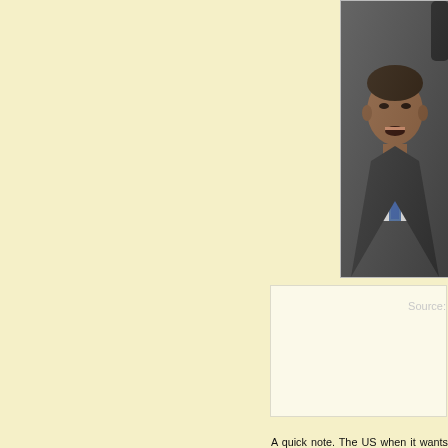[Figure (photo): Photo of a man in a dark suit and blue tie speaking into a microphone, mouth open, cropped to show head and upper torso against a light background.]
Source:
A quick note. The US when it wants to destroy a Latin America will use four tools to wage a war against them. They are: 1.) crushing sanctions designed to make life so much that they topple their government, 2.) a propaganda that paints a picture with little fact in it, demonizes the targeted regime and promotes false flag events like power outages proving the government is incompetent or was anti-government sabotage and e
Tools one and two are currently engaged in Venezuela. Brace yourselves after 6 April to hear the opposition Venezuelan president and US puppet Guaido announce “strategic tactics” for steps three and four using special forces, Columbian and rene For more information, read this Truth